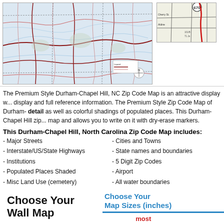[Figure (map): Durham-Chapel Hill NC Zip Code Map showing road network and county boundaries]
[Figure (map): Inset map detail showing street-level detail with route 670]
The Premium Style Durham-Chapel Hill, NC Zip Code Map is an attractive display w... detail as well as colorful shadings of populated places. This Durham-Chapel Hill zip... map and allows you to write on it with dry-erase markers.
This Durham-Chapel Hill, North Carolina Zip Code Map includes:
- Major Streets
- Interstate/US/State Highways
- Institutions
- Populated Places Shaded
- Misc Land Use (cemetery)
- Cities and Towns
- State names and boundaries
- 5 Digit Zip Codes
- Airport
- All water boundaries
Choose Your Wall Map
Choose Your Finishing Options
Choose Your Map Sizes (inches)
most popular
36x48
48x64